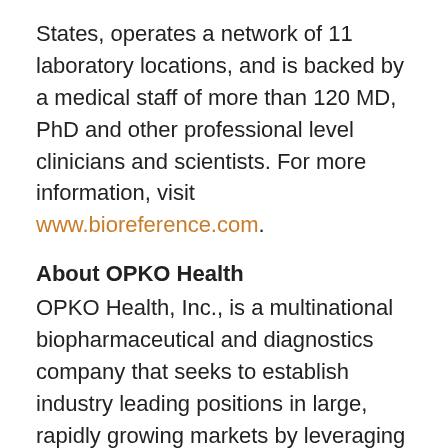States, operates a network of 11 laboratory locations, and is backed by a medical staff of more than 120 MD, PhD and other professional level clinicians and scientists. For more information, visit www.bioreference.com.
About OPKO Health
OPKO Health, Inc., is a multinational biopharmaceutical and diagnostics company that seeks to establish industry leading positions in large, rapidly growing markets by leveraging its discovery, development and commercialization expertise and novel and proprietary technologies. For more information, visit www.opko.com